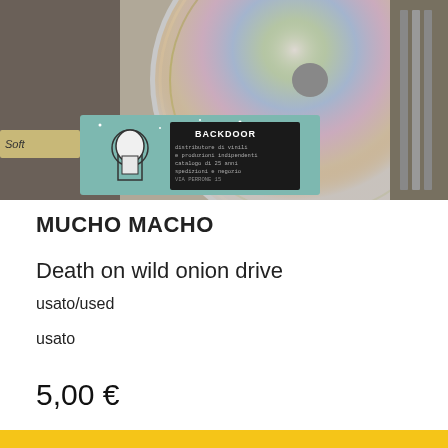[Figure (photo): Photo of CDs and a record store item showing a 'BACKDOOR' label/flyer with an illustrated character, placed among CD cases]
MUCHO MACHO
Death on wild onion drive
usato/used
usato
5,00 €